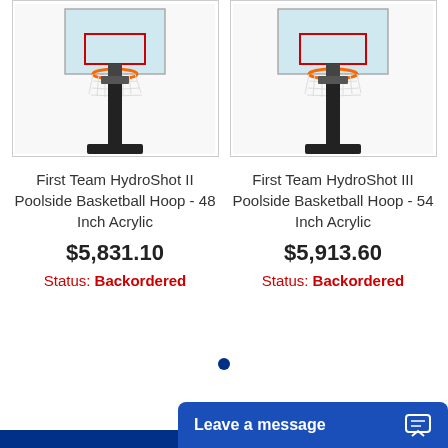[Figure (photo): First Team HydroShot II Poolside Basketball Hoop product image showing hoop on black pole with backboard]
First Team HydroShot II Poolside Basketball Hoop - 48 Inch Acrylic
$5,831.10
Status: Backordered
[Figure (photo): First Team HydroShot III Poolside Basketball Hoop product image showing hoop on black pole with backboard]
First Team HydroShot III Poolside Basketball Hoop - 54 Inch Acrylic
$5,913.60
Status: Backordered
Leave a message